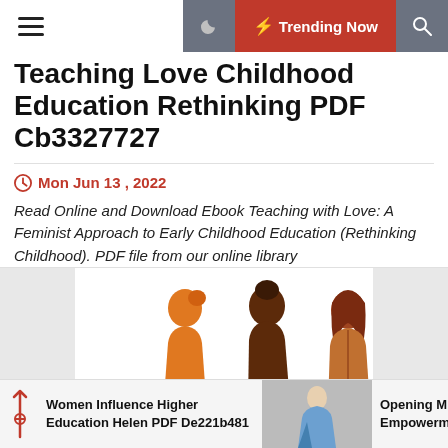Trending Now
Teaching Love Childhood Education Rethinking PDF Cb3327727
Mon Jun 13 , 2022
Read Online and Download Ebook Teaching with Love: A Feminist Approach to Early Childhood Education (Rethinking Childhood). PDF file from our online library
[Figure (illustration): Three stylized silhouette women figures in orange, dark brown, and brown tones, walking]
Women Influence Higher Education Helen PDF De221b481
Opening Mind Empowerment